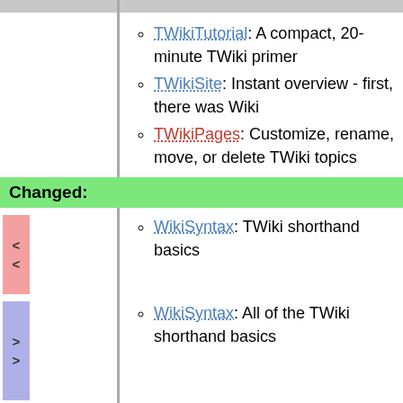TWikiTutorial: A compact, 20-minute TWiki primer
TWikiSite: Instant overview - first, there was Wiki
TWikiPages: Customize, rename, move, or delete TWiki topics
Changed:
WikiSyntax: TWiki shorthand basics
WikiSyntax: All of the TWiki shorthand basics
GoodStyle: Working tips for an open